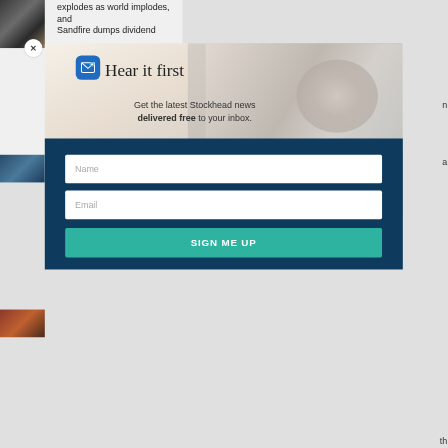explodes as world implodes, and Sandfire dumps dividend
[Figure (screenshot): Modal newsletter signup popup for Stockhead with close button (×), email icon, groundhog image background, headline 'Hear it first', subtitle 'Get the latest Stockhead news delivered free to your inbox.', Name input field, Email input field, and SIGN ME UP button]
Hear it first
Get the latest Stockhead news delivered free to your inbox.
Name
Email
SIGN ME UP